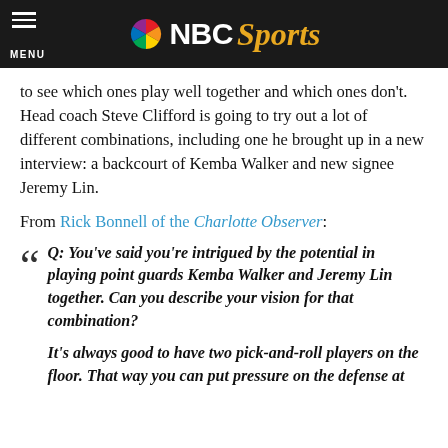NBC Sports
to see which ones play well together and which ones don't. Head coach Steve Clifford is going to try out a lot of different combinations, including one he brought up in a new interview: a backcourt of Kemba Walker and new signee Jeremy Lin.
From Rick Bonnell of the Charlotte Observer:
Q: You've said you're intrigued by the potential in playing point guards Kemba Walker and Jeremy Lin together. Can you describe your vision for that combination?

It's always good to have two pick-and-roll players on the floor. That way you can put pressure on the defense at